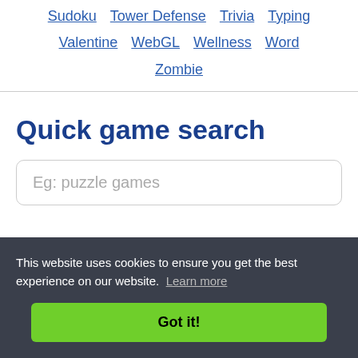Sudoku  Tower Defense  Trivia  Typing  Valentine  WebGL  Wellness  Word  Zombie
Quick game search
Eg: puzzle games
This website uses cookies to ensure you get the best experience on our website. Learn more
Got it!